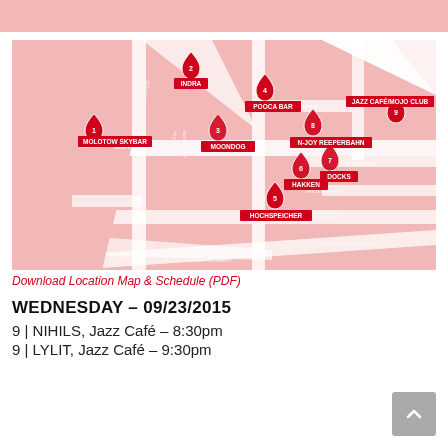[Figure (map): Street map of Hamburg St. Pauli / Reeperbahn area showing 9 numbered heart-shaped location markers for music venues: 1-Molotow Skybar, 2-Indra, 3-Moondog, 4-Pooca Bar, 5-Hochspeicher, 6-Hakken, 7-Docks, 8-N-Joy Reeperbahn, 9-Jazz Café/Mojo Club. Map background is pink/salmon with white streets.]
Download Location Map & Schedule (PDF)
WEDNESDAY – 09/23/2015
9 | NIHILS, Jazz Café – 8:30pm
9 | LYLIT, Jazz Café – 9:30pm